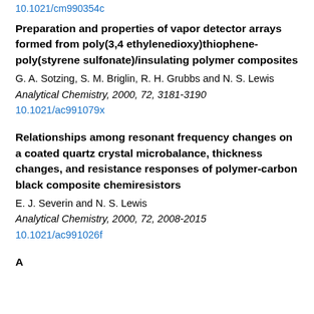10.1021/cm990354c
Preparation and properties of vapor detector arrays formed from poly(3,4 ethylenedioxy)thiophene-poly(styrene sulfonate)/insulating polymer composites
G. A. Sotzing, S. M. Briglin, R. H. Grubbs and N. S. Lewis
Analytical Chemistry, 2000, 72, 3181-3190
10.1021/ac991079x
Relationships among resonant frequency changes on a coated quartz crystal microbalance, thickness changes, and resistance responses of polymer-carbon black composite chemiresistors
E. J. Severin and N. S. Lewis
Analytical Chemistry, 2000, 72, 2008-2015
10.1021/ac991026f
A